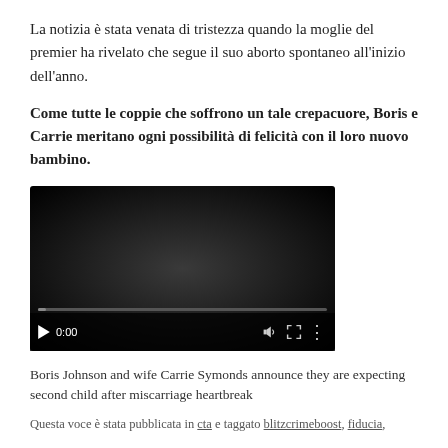La notizia è stata venata di tristezza quando la moglie del premier ha rivelato che segue il suo aborto spontaneo all'inizio dell'anno.
Come tutte le coppie che soffrono un tale crepacuore, Boris e Carrie meritano ogni possibilità di felicità con il loro nuovo bambino.
[Figure (screenshot): Embedded video player with dark background showing 0:00 timestamp and playback controls]
Boris Johnson and wife Carrie Symonds announce they are expecting second child after miscarriage heartbreak
Questa voce è stata pubblicata in cta e taggato blitzcrimeboost, fiducia,